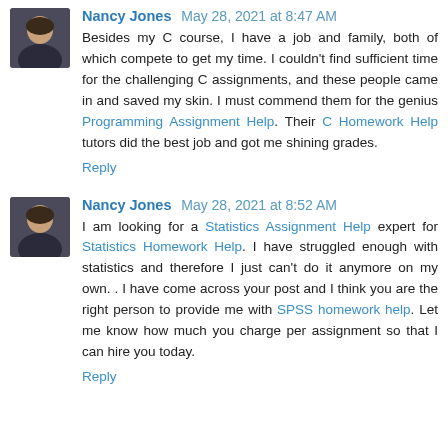Nancy Jones  May 28, 2021 at 8:47 AM
Besides my C course, I have a job and family, both of which compete to get my time. I couldn't find sufficient time for the challenging C assignments, and these people came in and saved my skin. I must commend them for the genius Programming Assignment Help. Their C Homework Help tutors did the best job and got me shining grades.
Reply
Nancy Jones  May 28, 2021 at 8:52 AM
I am looking for a Statistics Assignment Help expert for Statistics Homework Help. I have struggled enough with statistics and therefore I just can't do it anymore on my own. . I have come across your post and I think you are the right person to provide me with SPSS homework help. Let me know how much you charge per assignment so that I can hire you today.
Reply